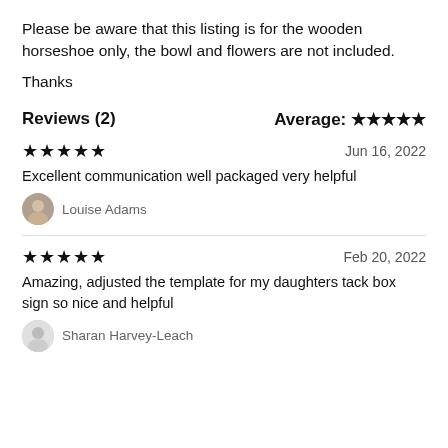Please be aware that this listing is for the wooden horseshoe only, the bowl and flowers are not included.
Thanks
Reviews (2)     Average: ★★★★★
★★★★★   Jun 16, 2022
Excellent communication well packaged very helpful
Louise Adams
★★★★★   Feb 20, 2022
Amazing, adjusted the template for my daughters tack box sign so nice and helpful
Sharan Harvey-Leach